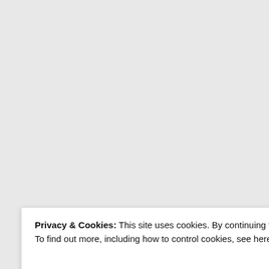But the two are co education and GDP afford to educate t
Education increasin added increasing ec
They're not mutual both directions thu
Again, what matter consistency of corre power once Africa is only artificially highe My correlations ma without level prove
Privacy & Cookies: This site uses cookies. By continuing to use this website, you agree to their use. To find out more, including how to control cookies, see here: Cookie Policy
Close and accept